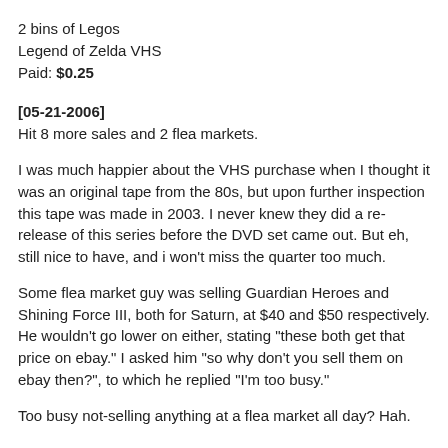2 bins of Legos
Legend of Zelda VHS
Paid: $0.25
[05-21-2006]
Hit 8 more sales and 2 flea markets.
I was much happier about the VHS purchase when I thought it was an original tape from the 80s, but upon further inspection this tape was made in 2003. I never knew they did a re-release of this series before the DVD set came out. But eh, still nice to have, and i won't miss the quarter too much.
Some flea market guy was selling Guardian Heroes and Shining Force III, both for Saturn, at $40 and $50 respectively. He wouldn't go lower on either, stating "these both get that price on ebay." I asked him "so why don't you sell them on ebay then?", to which he replied "I'm too busy."
Too busy not-selling anything at a flea market all day? Hah.